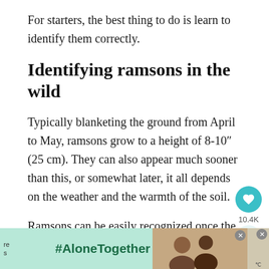For starters, the best thing to do is learn to identify them correctly.
Identifying ramsons in the wild
Typically blanketing the ground from April to May, ramsons grow to a height of 8-10″ (25 cm). They can also appear much sooner than this, or somewhat later, it all depends on the weather and the warmth of the soil.
Ramsons can be easily recognized once the,